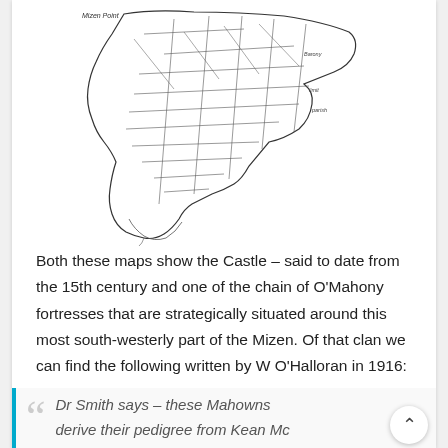[Figure (map): Partial black-and-white map of a coastal region (likely the Mizen Peninsula, Ireland) showing parish/land boundaries, with label 'Mizen Point' visible at top left and various hatched coastline details.]
Both these maps show the Castle – said to date from the 15th century and one of the chain of O'Mahony fortresses that are strategically situated around this most south-westerly part of the Mizen. Of that clan we can find the following written by W O'Halloran in 1916:
Dr Smith says – these Mahowns derive their pedigree from Kean Mc